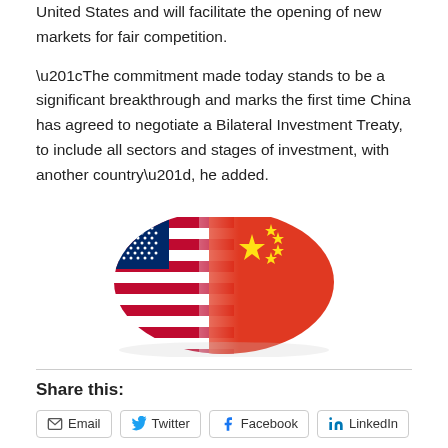United States and will facilitate the opening of new markets for fair competition.
“The commitment made today stands to be a significant breakthrough and marks the first time China has agreed to negotiate a Bilateral Investment Treaty, to include all sectors and stages of investment, with another country”, he added.
[Figure (illustration): Composite image of the American flag and Chinese flag overlapping and blending together, waving.]
Share this:
Email
Twitter
Facebook
LinkedIn